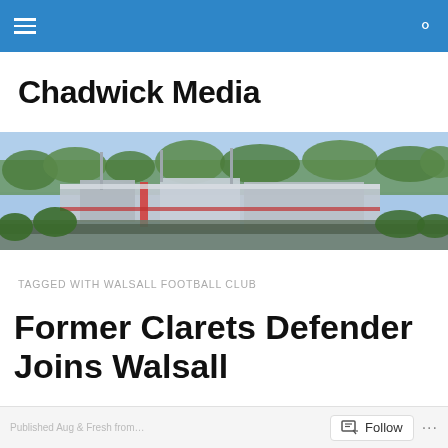Chadwick Media — navigation bar
Chadwick Media
[Figure (photo): Aerial/elevated view of a football stadium surrounded by trees and car parks, taken on a sunny day.]
TAGGED WITH WALSALL FOOTBALL CLUB
Former Clarets Defender Joins Walsall